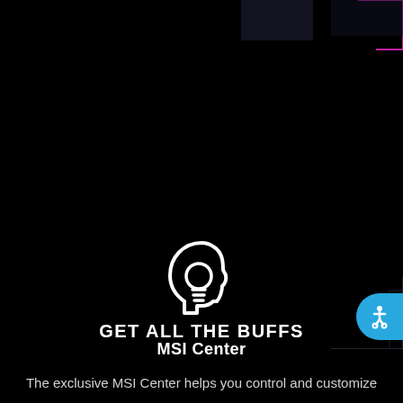[Figure (illustration): MSI Center logo — white outline of a human head profile with a lightbulb inside, on black background. Decorative magenta/pink angular lines in top-right corner.]
MSI Center
GET ALL THE BUFFS
The exclusive MSI Center helps you control and customize